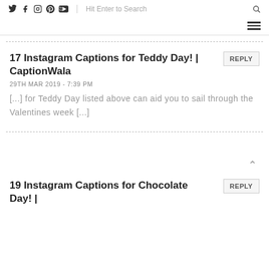Social icons: Twitter, Facebook, Instagram, Pinterest, YouTube | Hit Enter to Search | Search icon | Hamburger menu
17 Instagram Captions for Teddy Day! | CaptionWala
29TH MAR 2019 - 7:39 PM
[...] for Teddy Day listed above can aid you to sail through the Valentines week [...]
19 Instagram Captions for Chocolate Day! |